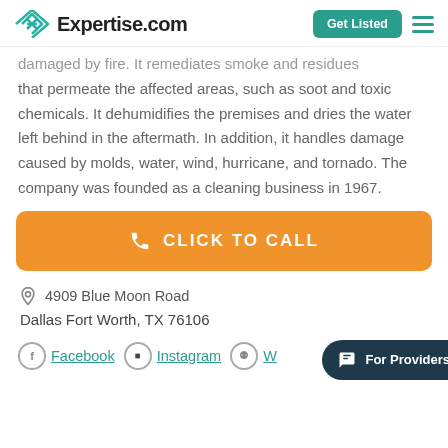Expertise.com | Get Listed
damaged by fire. It remediates smoke and residues that permeate the affected areas, such as soot and toxic chemicals. It dehumidifies the premises and dries the water left behind in the aftermath. In addition, it handles damage caused by molds, water, wind, hurricane, and tornado. The company was founded as a cleaning business in 1967.
[Figure (other): Orange CLICK TO CALL button with phone icon]
4909 Blue Moon Road
Dallas Fort Worth, TX 76106
Facebook  Instagram  W...